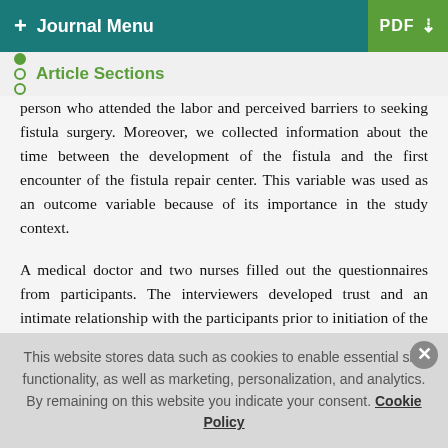+ Journal Menu | PDF ↓
Article Sections
person who attended the labor and perceived barriers to seeking fistula surgery. Moreover, we collected information about the time between the development of the fistula and the first encounter of the fistula repair center. This variable was used as an outcome variable because of its importance in the study context.
A medical doctor and two nurses filled out the questionnaires from participants. The interviewers developed trust and an intimate relationship with the participants prior to initiation of the interviews. Participants were also given information about the study's objectives, as well as the research question that the study
This website stores data such as cookies to enable essential site functionality, as well as marketing, personalization, and analytics. By remaining on this website you indicate your consent. Cookie Policy